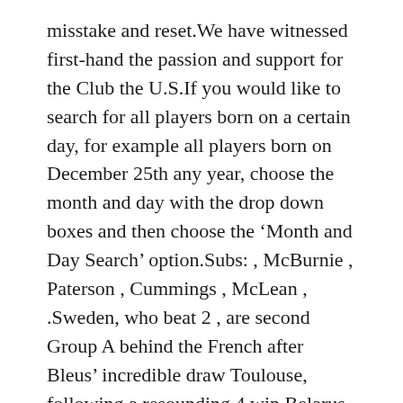misstake and reset.We have witnessed first-hand the passion and support for the Club the U.S.If you would like to search for all players born on a certain day, for example all players born on December 25th any year, choose the month and day with the drop down boxes and then choose the 'Month and Day Search' option.Subs: , McBurnie , Paterson , Cummings , McLean , .Sweden, who beat 2 , are second Group A behind the French after Bleus' incredible draw Toulouse, following a resounding 4 win Belarus with goals from Emil Forsberg, Christoffer Nyman, Marcus Berg and Granqvist penalty.
July 26 Barcelona FedEx Field, Washington, D.C.